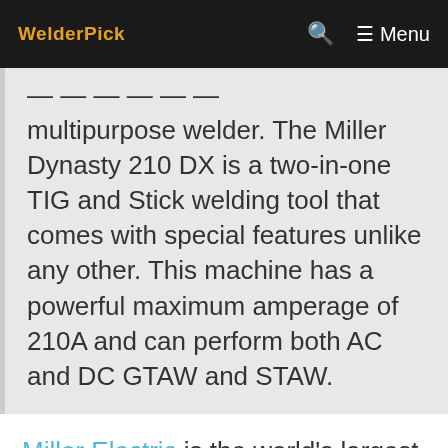WelderPick  🔍  ☰ Menu
multipurpose welder. The Miller Dynasty 210 DX is a two-in-one TIG and Stick welding tool that comes with special features unlike any other. This machine has a powerful maximum amperage of 210A and can perform both AC and DC GTAW and STAW.
Miller Electric is the world's largest